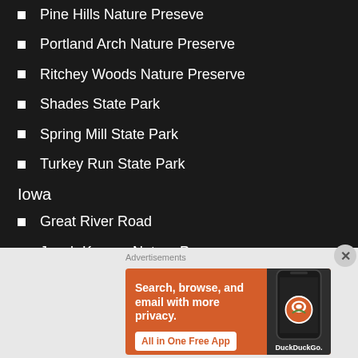Pine Hills Nature Preseve
Portland Arch Nature Preserve
Ritchey Woods Nature Preserve
Shades State Park
Spring Mill State Park
Turkey Run State Park
Iowa
Great River Road
Jacob Krumm Nature Preserve
Ledges State Park
Maquoketa Caves State Park
Saulsbury Bridge Recreation Area
[Figure (screenshot): DuckDuckGo advertisement banner: orange background with text 'Search, browse, and email with more privacy. All in One Free App' and a phone mockup showing DuckDuckGo logo]